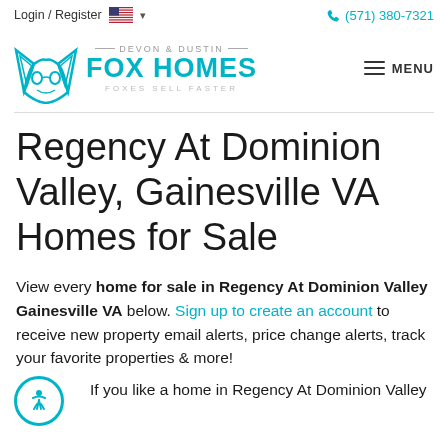Login / Register  🇺🇸 ∨    (571) 380-7321
[Figure (logo): Devon & Dustin Fox Homes logo with teal fox icon and text 'FOX HOMES / FOXES SELL FASTER']
Regency At Dominion Valley, Gainesville VA Homes for Sale
View every home for sale in Regency At Dominion Valley Gainesville VA below. Sign up to create an account to receive new property email alerts, price change alerts, track your favorite properties & more!
If you like a home in Regency At Dominion Valley